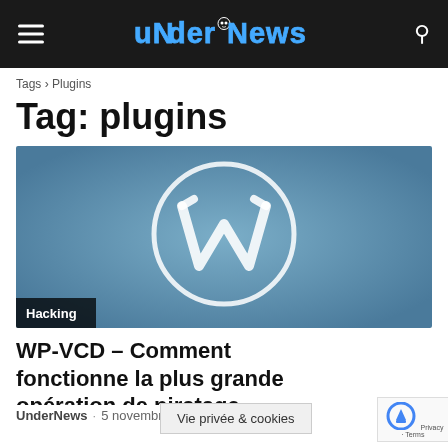UNDERNEWS
Tags › Plugins
Tag: plugins
[Figure (screenshot): WordPress logo on a steel-blue gradient background with a 'Hacking' category badge in the lower left]
WP-VCD – Comment fonctionne la plus grande opération de piratage WordPress
UnderNews · 5 novembre 2019
Vie privée & cookies